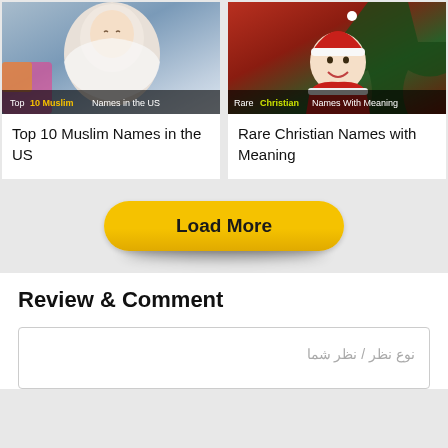[Figure (photo): Photo of a newborn baby wrapped in white cloth with colorful background, overlay text: Top 10 Muslim Names in the US]
Top 10 Muslim Names in the US
[Figure (photo): Photo of a baby in a Santa Claus costume laughing near Christmas decorations, overlay text: Rare Christian Names With Meaning]
Rare Christian Names with Meaning
Load More
Review & Comment
نوع نظر / نظر شما